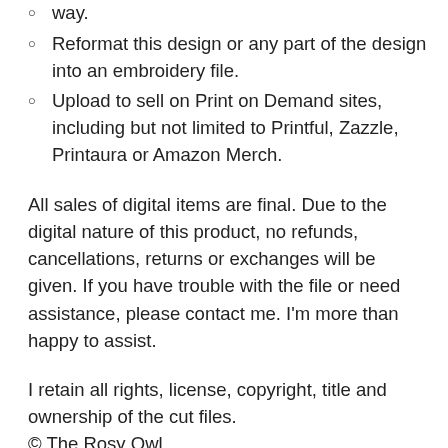way.
Reformat this design or any part of the design into an embroidery file.
Upload to sell on Print on Demand sites, including but not limited to Printful, Zazzle, Printaura or Amazon Merch.
All sales of digital items are final. Due to the digital nature of this product, no refunds, cancellations, returns or exchanges will be given. If you have trouble with the file or need assistance, please contact me. I'm more than happy to assist.
I retain all rights, license, copyright, title and ownership of the cut files.
© The Rosy Owl